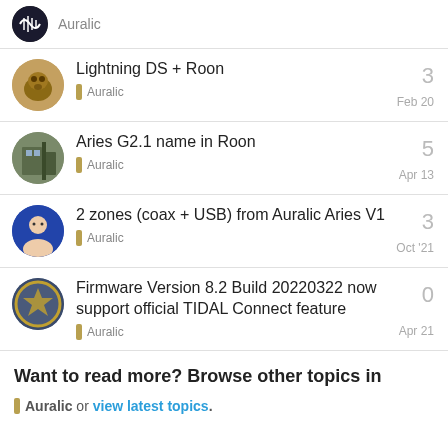Lightning DS + Roon — Auralic — Feb 20 — replies: 3
Aries G2.1 name in Roon — Auralic — Apr 13 — replies: 5
2 zones (coax + USB) from Auralic Aries V1 — Auralic — Oct '21 — replies: 3
Firmware Version 8.2 Build 20220322 now support official TIDAL Connect feature — Auralic — Apr 21 — replies: 0
Want to read more? Browse other topics in Auralic or view latest topics.